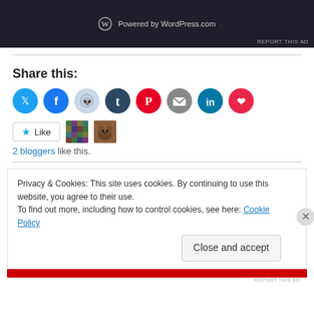[Figure (screenshot): Dark banner ad showing WordPress.com logo and 'Powered by WordPress.com' text with 'REPORT THIS AD' link]
Share this:
[Figure (infographic): Row of social media share icons: Twitter (blue), Facebook (blue), Reddit (light blue/gray), Tumblr (dark blue), Pinterest (red), Email (gray), LinkedIn (teal), Pocket (red)]
[Figure (infographic): Like button with star icon, followed by two blogger avatars (mosaic pattern and dog photo)]
2 bloggers like this.
Privacy & Cookies: This site uses cookies. By continuing to use this website, you agree to their use.
To find out more, including how to control cookies, see here: Cookie Policy
Close and accept